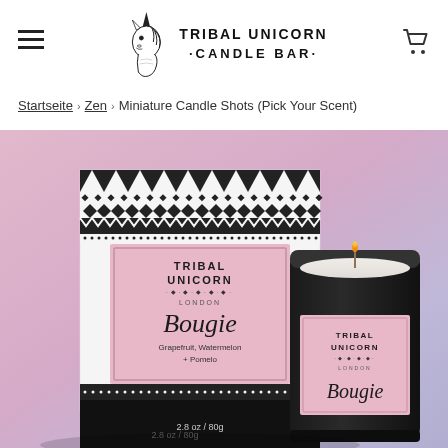TRIBAL UNICORN · CANDLE BAR ·
Startseite › Zen › Miniature Candle Shots (Pick Your Scent)
[Figure (photo): Tribal Unicorn Candle Bar product photo showing a black candle jar with pink label reading 'Bougie Grapefruit Watermelon + Pomelo' next to its decorative black and white tribal-patterned box, on a pink and lavender gradient background. The candle label reads 'TRIBAL UNICORN LONDON Bougie'. Bottom text shows '2.8 oz / 80g'.]